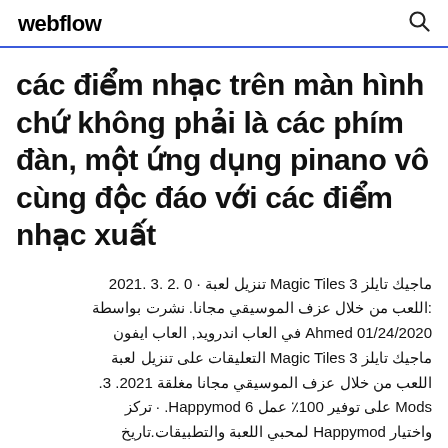webflow
các điểm nhạc trên màn hình chứ không phải là các phím đàn, một ứng dụng pinano vô cùng độc đáo với các điểm nhạc xuất
تنزيل لعبة Magic Tiles 3 ماجيك تايلز · 0 .2 .3 .2021 :اللعب من خلال عزف الموسيقي مجانا. نشرت بواسطة Ahmed 01/24/2020 في العاب اندرويد, العاب ايفون التعليقات على تنزيل لعبة Magic Tiles 3 ماجيك تايلز اللعب من خلال عزف الموسيقي مجانا مغلقة 2021. 3. Mods على توفير 100٪ عمل Happymod 6 . · تركز واختيار Happymod لمحبي اللعبة والتطبيقات.تاريخ بالنسبة لك.. قم بنتزيل Magic Tiles mod 100 ٪ تعمل 38.013.003 لـ Android مجانا، و بدون فيروسات، من